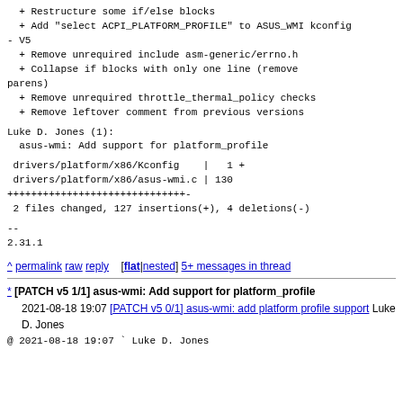+ Restructure some if/else blocks
  + Add "select ACPI_PLATFORM_PROFILE" to ASUS_WMI kconfig
- V5
  + Remove unrequired include asm-generic/errno.h
  + Collapse if blocks with only one line (remove parens)
  + Remove unrequired throttle_thermal_policy checks
  + Remove leftover comment from previous versions
Luke D. Jones (1):
  asus-wmi: Add support for platform_profile
drivers/platform/x86/Kconfig    |   1 +
 drivers/platform/x86/asus-wmi.c | 130
++++++++++++++++++++++++++++++-
 2 files changed, 127 insertions(+), 4 deletions(-)
--
2.31.1
^ permalink raw reply  [flat|nested] 5+ messages in thread
* [PATCH v5 1/1] asus-wmi: Add support for platform_profile
  2021-08-18 19:07 [PATCH v5 0/1] asus-wmi: add platform profile support Luke D. Jones
@ 2021-08-18 19:07 ` Luke D. Jones